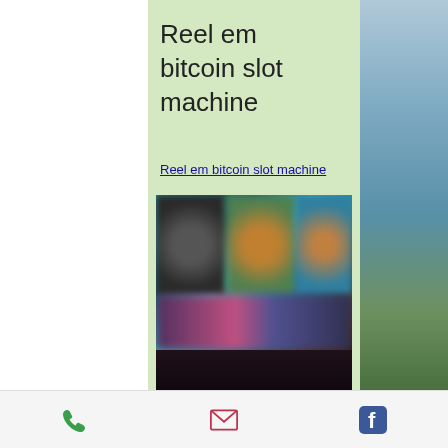Reel em bitcoin slot machine
Reel em bitcoin slot machine
[Figure (screenshot): Blurred screenshot of a slot machine game showing colorful character icons and dark background]
Phone | Email | Facebook icons